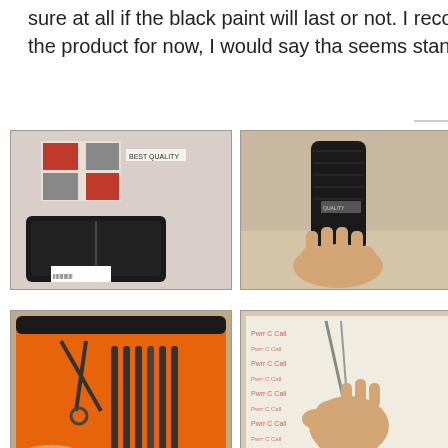sure at all if the black paint will last or not. I recommend the dealer, but as it comes to the product for now, I would say that seems standard quality to me.
[Figure (photo): Product packaging - red and black case with accessories]
[Figure (photo): Hand holding closed black grooming kit case from side view]
[Figure (photo): Open orange grooming kit case showing tools on brown surface]
[Figure (photo): Open orange grooming kit case with tweezers visible]
[Figure (photo): Hand using a tool/tweezers on paper]